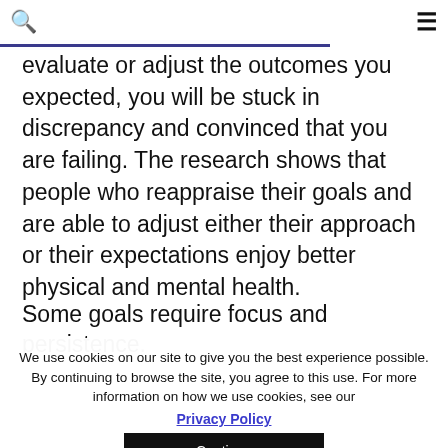🔍  ☰
evaluate or adjust the outcomes you expected, you will be stuck in discrepancy and convinced that you are failing. The research shows that people who reappraise their goals and are able to adjust either their approach or their expectations enjoy better physical and mental health.
Some goals require focus and persistence.
We use cookies on our site to give you the best experience possible. By continuing to browse the site, you agree to this use. For more information on how we use cookies, see our Privacy Policy Continue